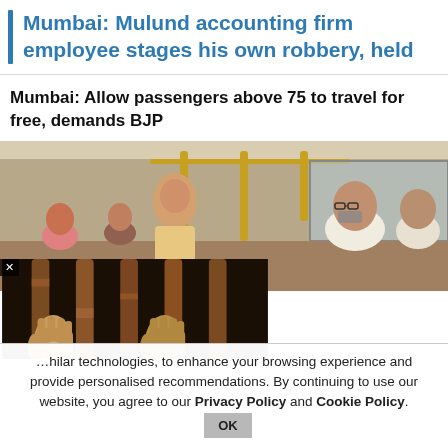Mumbai: Mulund accounting firm employee stages his own robbery, held
Mumbai: Allow passengers above 75 to travel for free, demands BJP
[Figure (photo): Composite photo: top shows elderly passengers standing and sitting inside a Mumbai city bus; bottom-left shows hands gripping rusted jail bars.]
…hilar technologies, to enhance your browsing experience and provide personalised recommendations. By continuing to use our website, you agree to our Privacy Policy and Cookie Policy.